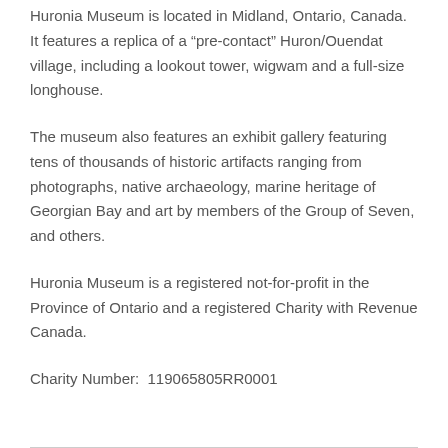Huronia Museum is located in Midland, Ontario, Canada. It features a replica of a “pre-contact” Huron/Ouendat village, including a lookout tower, wigwam and a full-size longhouse.
The museum also features an exhibit gallery featuring tens of thousands of historic artifacts ranging from photographs, native archaeology, marine heritage of Georgian Bay and art by members of the Group of Seven, and others.
Huronia Museum is a registered not-for-profit in the Province of Ontario and a registered Charity with Revenue Canada.
Charity Number:  119065805RR0001